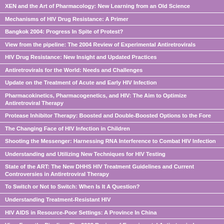XEN and the Art of Pharmacology: New Learning from an Old Science
Mechanisms of HIV Drug Resistance: A Primer
Bangkok 2004: Progress In Spite of Protest?
View from the pipeline: The 2004 Review of Experimental Antiretrovirals
HIV Drug Resistance: New Insight and Updated Practices
Antiretrovirals for the World: Needs and Challenges
Update on the Treatment of Acute and Early HIV Infection
Pharmacokinetics, Pharmacogenetics, and HIV: The Aim to Optimize Antiretroviral Therapy
Protease Inhibitor Therapy: Boosted and Double-Boosted Options to the Fore
The Changing Face of HIV Infection in Children
Shooting the Messenger: Harnessing RNA Interference to Combat HIV Infection
Understanding and Utilizing New Techniques for HIV Testing
State of the ART: The New DHHS HIV Treatment Guidelines and Current Controversies in Antiretroviral Therapy
To Switch or Not to Switch: When Is It A Question?
Understanding Treatment-Resistant HIV
HIV AIDS in Resource-Poor Settings: A Province In China
View From the Pipeline: The 2003 Review of Experimental Antiretrovirals
Youth and HIV: The Epidemic Continues